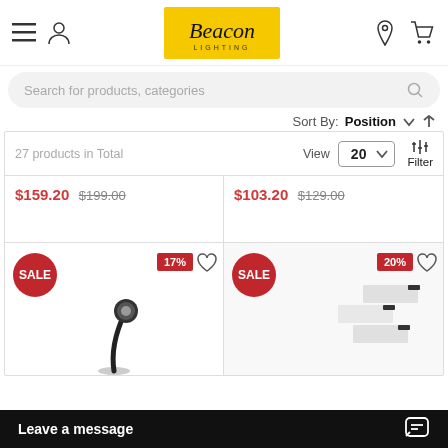Beacon Lighting — navigation header
Search for products, categories
Sort By: Position
27 products in Total  View 20  Filter
$159.20 $199.00
$103.20 $129.00
[Figure (photo): SALE 17% badge with heart icon and partial product image of a desk lamp with flexible black neck]
[Figure (photo): SALE 20% badge with heart icon and partial product image of white wall light fixtures]
Leave a message